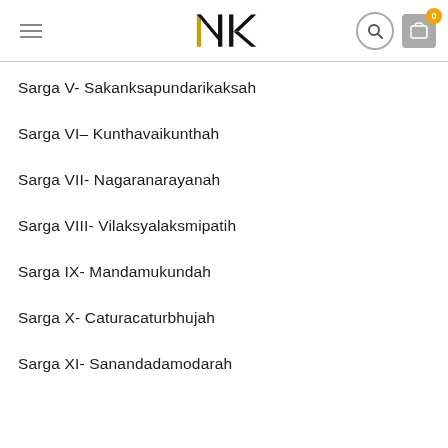NK logo, search, cart navigation header
Sarga V- Sakanksapundarikaksah
Sarga VI– Kunthavaikunthah
Sarga VII- Nagaranarayanah
Sarga VIII- Vilaksyalaksmipatih
Sarga IX- Mandamukundah
Sarga X- Caturacaturbhujah
Sarga XI- Sanandadamodarah